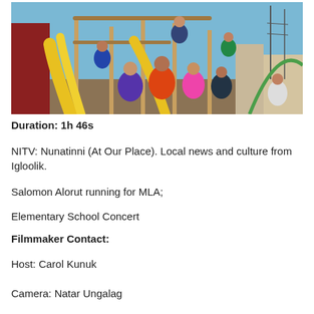[Figure (photo): Children playing on a playground structure with slides and climbing equipment, wearing colorful winter jackets. Set in an Arctic community with buildings and utility poles visible in the background under a blue sky.]
Duration: 1h 46s
NITV: Nunatinni (At Our Place). Local news and culture from Igloolik.
Salomon Alorut running for MLA;
Elementary School Concert
Filmmaker Contact:
Host: Carol Kunuk
Camera: Natar Ungalag